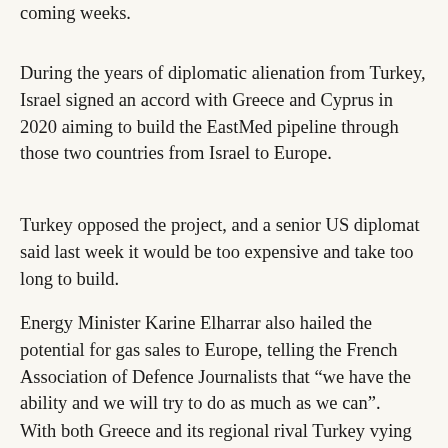coming weeks.
During the years of diplomatic alienation from Turkey, Israel signed an accord with Greece and Cyprus in 2020 aiming to build the EastMed pipeline through those two countries from Israel to Europe.
Turkey opposed the project, and a senior US diplomat said last week it would be too expensive and take too long to build.
Energy Minister Karine Elharrar also hailed the potential for gas sales to Europe, telling the French Association of Defence Journalists that “we have the ability and we will try to do as much as we can”.
With both Greece and its regional rival Turkey vying to be